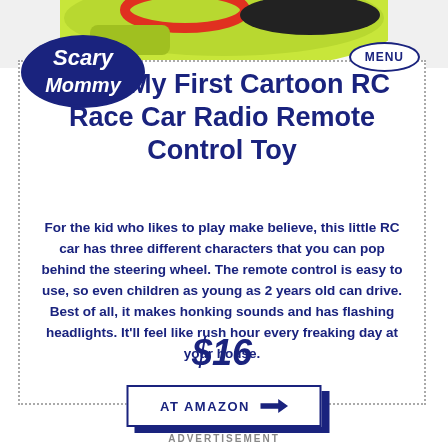[Figure (photo): Top portion of a toy RC car with colorful green, red and black colors visible at the top of the page]
Scary Mommy
imports My First Cartoon RC Race Car Radio Remote Control Toy
For the kid who likes to play make believe, this little RC car has three different characters that you can pop behind the steering wheel. The remote control is easy to use, so even children as young as 2 years old can drive. Best of all, it makes honking sounds and has flashing headlights. It’ll feel like rush hour every freaking day at your house.
$16
AT AMAZON
ADVERTISEMENT